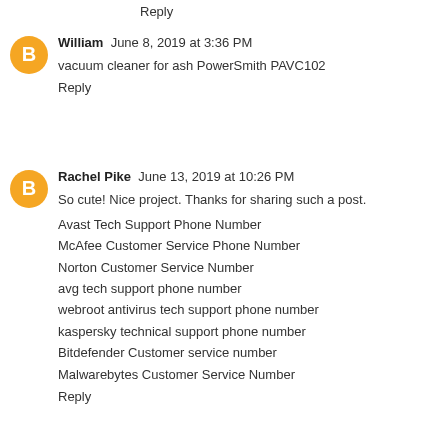Reply
William  June 8, 2019 at 3:36 PM
vacuum cleaner for ash PowerSmith PAVC102
Reply
Rachel Pike  June 13, 2019 at 10:26 PM
So cute! Nice project. Thanks for sharing such a post.
Avast Tech Support Phone Number
McAfee Customer Service Phone Number
Norton Customer Service Number
avg tech support phone number
webroot antivirus tech support phone number
kaspersky technical support phone number
Bitdefender Customer service number
Malwarebytes Customer Service Number
Reply